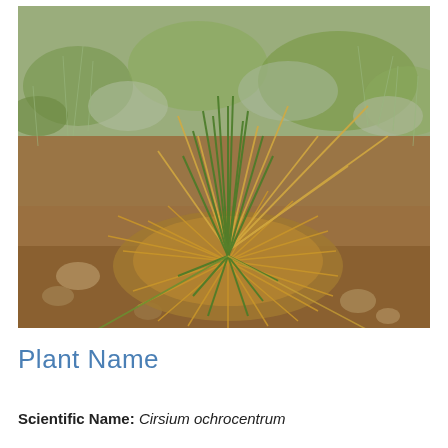[Figure (photo): Outdoor photograph of a grass clump plant (Cirsium ochrocentrum) growing in dry, rocky soil with sparse surrounding vegetation. The plant has long green and tan grass-like blades radiating outward from a central clump, with dry brown outer growth and green inner shoots. Surrounding plants are low-growing shrubby desert vegetation on bare reddish-brown soil.]
Plant Name
Scientific Name: Cirsium ochrocentrum